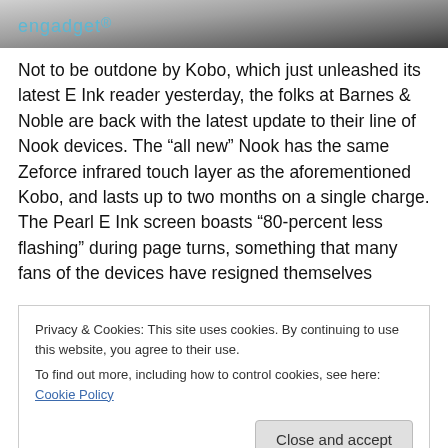[Figure (photo): Top portion of a webpage screenshot showing a photo strip with the Engadget logo in teal/blue color on a dark gradient background.]
Not to be outdone by Kobo, which just unleashed its latest E Ink reader yesterday, the folks at Barnes & Noble are back with the latest update to their line of Nook devices. The “all new” Nook has the same Zeforce infrared touch layer as the aforementioned Kobo, and lasts up to two months on a single charge. The Pearl E Ink screen boasts “80-percent less flashing” during page turns, something that many fans of the devices have resigned themselves
Privacy & Cookies: This site uses cookies. By continuing to use this website, you agree to their use.
To find out more, including how to control cookies, see here: Cookie Policy
Close and accept